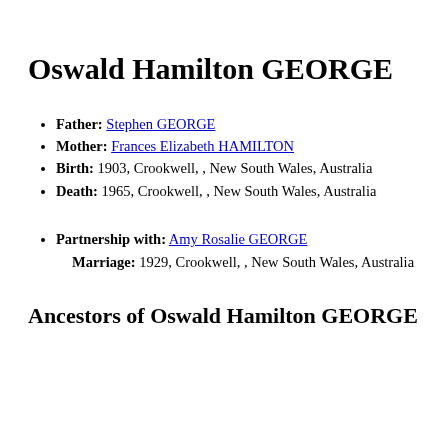Oswald Hamilton GEORGE
Father: Stephen GEORGE
Mother: Frances Elizabeth HAMILTON
Birth: 1903, Crookwell, , New South Wales, Australia
Death: 1965, Crookwell, , New South Wales, Australia
Partnership with: Amy Rosalie GEORGE
Marriage: 1929, Crookwell, , New South Wales, Australia
Ancestors of Oswald Hamilton GEORGE